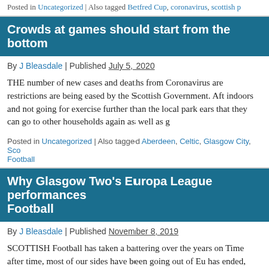Posted in Uncategorized | Also tagged Betfred Cup, coronavirus, scottish p…
Crowds at games should start from the bottom
By J Bleasdale | Published July 5, 2020
THE number of new cases and deaths from Coronavirus are… restrictions are being eased by the Scottish Government. After… indoors and not going for exercise further than the local park… ears that they can go to other households again as well as g…
Posted in Uncategorized | Also tagged Aberdeen, Celtic, Glasgow City, Sco… Football
Why Glasgow Two's Europa League performances… Football
By J Bleasdale | Published November 8, 2019
SCOTTISH Football has taken a battering over the years on… Time after time, most of our sides have been going out of Eu… has ended, whilst Celtic have had mixed fortunes in both faili… Champions League and suffered some hammerings off some… more]